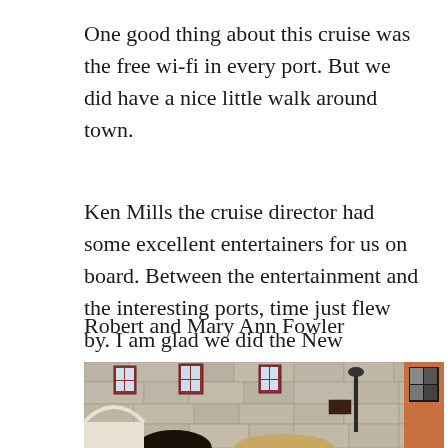One good thing about this cruise was the free wi-fi in every port. But we did have a nice little walk around town.
Ken Mills the cruise director had some excellent entertainers for us on board. Between the entertainment and the interesting ports, time just flew by. I am glad we did the New England/Canada cruise and would recommend it.
Robert and Mary Ann Fowler
[Figure (photo): Photograph of people in front of old stone buildings with red-trimmed windows, likely in a historic town in Quebec or New England. Two people visible in foreground, stone architecture in background.]